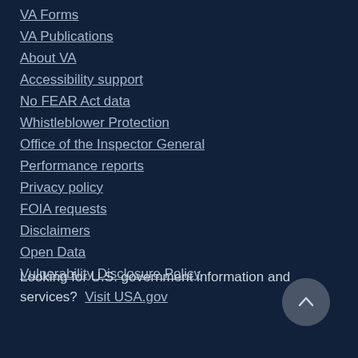VA Forms
VA Publications
About VA
Accessibility support
No FEAR Act data
Whistleblower Protection
Office of the Inspector General
Performance reports
Privacy policy
FOIA requests
Disclaimers
Open Data
Vulnerability Disclosure Policy
Looking for U.S. government information and services?  Visit USA.gov